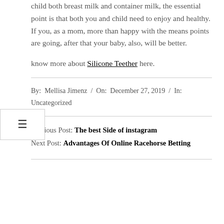child both breast milk and container milk, the essential point is that both you and child need to enjoy and healthy. If you, as a mom, more than happy with the means points are going, after that your baby, also, will be better.
know more about Silicone Teether here.
By: Mellisa Jimenz / On: December 27, 2019 / In: Uncategorized
Previous Post: The best Side of instagram
Next Post: Advantages Of Online Racehorse Betting